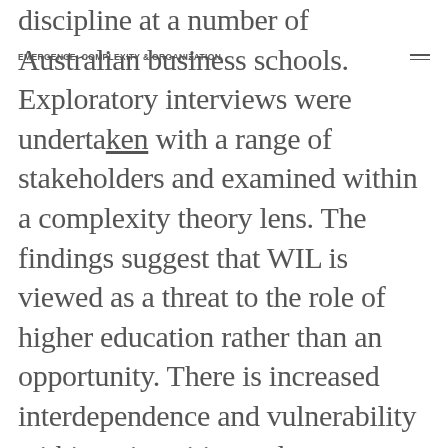EMERGENCE: COMPLEXITY & ORGANIZATION
discipline at a number of Australian business schools. Exploratory interviews were undertaken with a range of stakeholders and examined within a complexity theory lens. The findings suggest that WIL is viewed as a threat to the role of higher education rather than an opportunity. There is increased interdependence and vulnerability within universities and as universities struggle for resources to respond to uncertainties in their ecosystem, they are being forced into making short term changes rather than co-evolving with their environment. By looking at the connectedness and evolutionary properties of the universities involved in the study, a number of recommendations are suggested to encourage universities to move to the edge of chaos, where a university's full